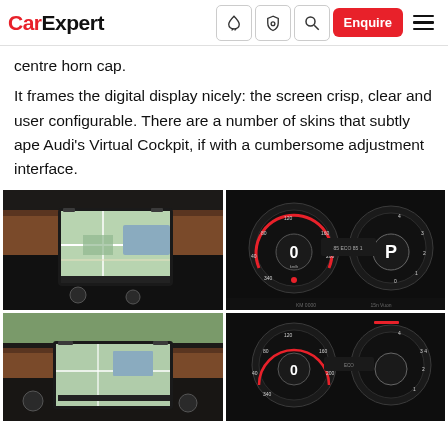CarExpert — navigation bar with logo, icons, Enquire button, and menu
centre horn cap.
It frames the digital display nicely: the screen crisp, clear and user configurable. There are a number of skins that subtly ape Audi's Virtual Cockpit, if with a cumbersome adjustment interface.
[Figure (photo): Car interior infotainment screen showing map navigation, with brown leather trim visible]
[Figure (photo): Digital instrument cluster showing speedometer, tachometer gauges with dark background and red accents, displaying P for park]
[Figure (photo): Car interior dashboard and infotainment screen, partial view from lower angle]
[Figure (photo): Digital instrument cluster partial view, similar to above]